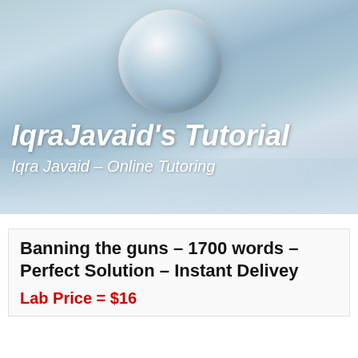[Figure (photo): Banner image showing a glass water droplet on a frosted surface with blue-grey tones. Text overlay reads 'IqraJavaid's Tutorial' and 'Iqra Javaid – Online Tutoring']
Banning the guns – 1700 words – Perfect Solution – Instant Delivey
Lab Price = $16